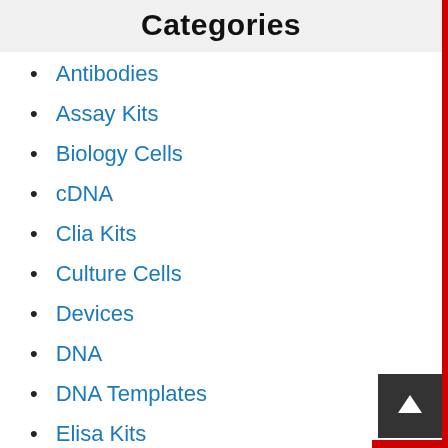Categories
Antibodies
Assay Kits
Biology Cells
cDNA
Clia Kits
Culture Cells
Devices
DNA
DNA Templates
Elisa Kits
Enzymes
Equipments